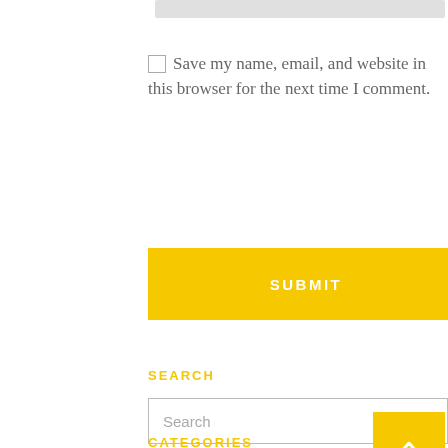Save my name, email, and website in this browser for the next time I comment.
SUBMIT
SEARCH
Search
CATEGORIES